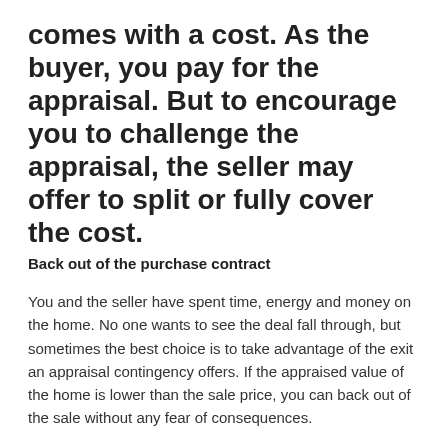comes with a cost. As the buyer, you pay for the appraisal. But to encourage you to challenge the appraisal, the seller may offer to split or fully cover the cost.
Back out of the purchase contract
You and the seller have spent time, energy and money on the home. No one wants to see the deal fall through, but sometimes the best choice is to take advantage of the exit an appraisal contingency offers. If the appraised value of the home is lower than the sale price, you can back out of the sale without any fear of consequences.
If you explored all your options and none of them worked for you, backing out might be the right decision.